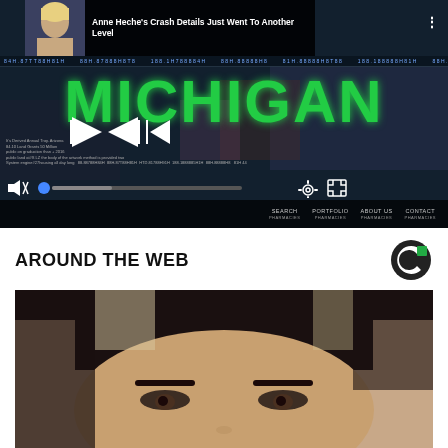[Figure (screenshot): Video player screenshot showing 'MICHIGAN' in large green text on dark background with video controls, ticker bar, navigation menu, and an ad overlay showing Anne Heche's crash news story]
AROUND THE WEB
[Figure (photo): Close-up photo of a woman with dark hair, visible from forehead to midface, showing eyes and eyebrows]